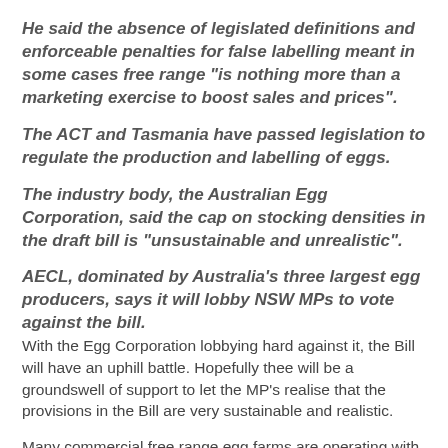He said the absence of legislated definitions and enforceable penalties for false labelling meant in some cases free range "is nothing more than a marketing exercise to boost sales and prices".
The ACT and Tasmania have passed legislation to regulate the production and labelling of eggs.
The industry body, the Australian Egg Corporation, said the cap on stocking densities in the draft bill is "unsustainable and unrealistic".
AECL, dominated by Australia's three largest egg producers, says it will lobby NSW MPs to vote against the bill. With the Egg Corporation lobbying hard against it, the Bill will have an uphill battle. Hopefully thee will be a groundswell of support to let the MP's realise that the provisions in the Bill are very sustainable and realistic.
Many commercial free range egg farms are operating with those standards already in place all over Australia. Members